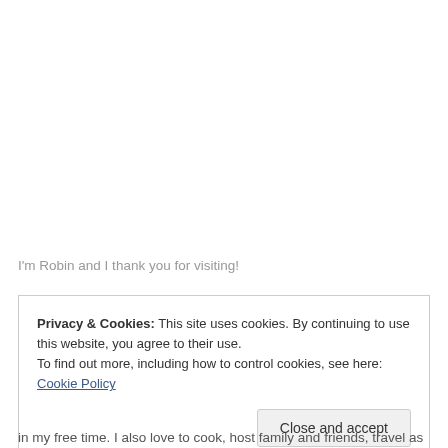I'm Robin and I thank you for visiting!
Privacy & Cookies: This site uses cookies. By continuing to use this website, you agree to their use.
To find out more, including how to control cookies, see here: Cookie Policy
Close and accept
in my free time. I also love to cook, host family and friends, travel as